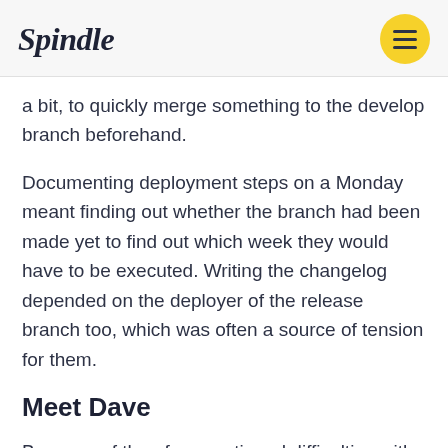Spindle
a bit, to quickly merge something to the develop branch beforehand.
Documenting deployment steps on a Monday meant finding out whether the branch had been made yet to find out which week they would have to be executed. Writing the changelog depended on the deployer of the release branch too, which was often a source of tension for them.
Meet Dave
Because of the aforementioned difficulties with the process I proposed somebody else